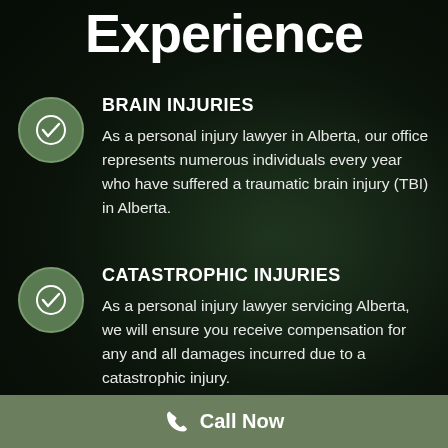Experience
BRAIN INJURIES
As a personal injury lawyer in Alberta, our office represents numerous individuals every year who have suffered a traumatic brain injury (TBI) in Alberta.
CATASTROPHIC INJURIES
As a personal injury lawyer servicing Alberta, we will ensure you receive compensation for any and all damages incurred due to a catastrophic injury.
Call Now